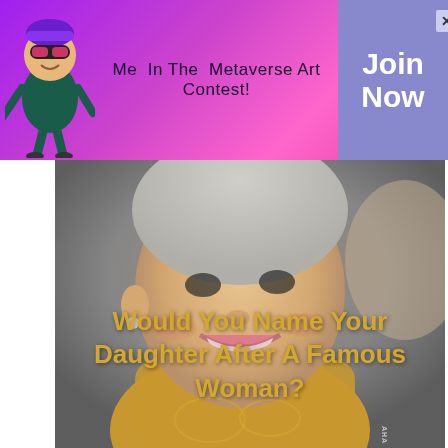[Figure (illustration): Purple/pink gradient banner with cartoon mascot character (purple ninja with VR headset holding a lightsaber), text 'Me In The Metaverse Art Contest!', and a 'Join Now' button box with an X close button]
Me In The Metaverse Art Contest!
[Figure (photo): Close-up photo of an elderly smiling woman (resembling Queen Elizabeth II) in golden embroidered attire with pearl necklace, photographed from below/mid level. Overlaid text: 'Would You Name Your Daughter After A Famous Woman?']
Would You Name Your Daughter After A Famous Woman?